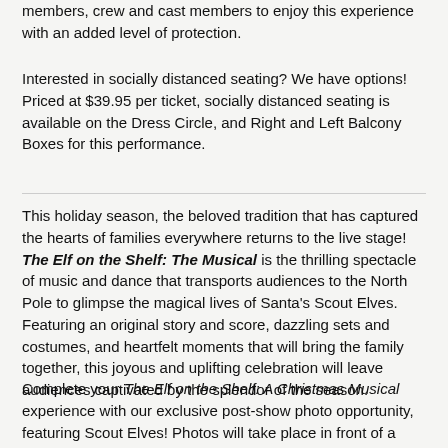members, crew and cast members to enjoy this experience with an added level of protection.
Interested in socially distanced seating? We have options! Priced at $39.95 per ticket, socially distanced seating is available on the Dress Circle, and Right and Left Balcony Boxes for this performance.
This holiday season, the beloved tradition that has captured the hearts of families everywhere returns to the live stage! The Elf on the Shelf: The Musical is the thrilling spectacle of music and dance that transports audiences to the North Pole to glimpse the magical lives of Santa's Scout Elves. Featuring an original story and score, dazzling sets and costumes, and heartfelt moments that will bring the family together, this joyous and uplifting celebration will leave audiences captivated by the splendor of the season.
Complete your The Elf on the Shelf: A Christmas Musical experience with our exclusive post-show photo opportunity, featuring Scout Elves! Photos will take place in front of a magical North Pole backdrop. VIP packages are included in the Gold Class at no extra charge.